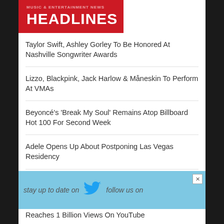HEADLINES
Taylor Swift, Ashley Gorley To Be Honored At Nashville Songwriter Awards
Lizzo, Blackpink, Jack Harlow & Måneskin To Perform At VMAs
Beyoncé's 'Break My Soul' Remains Atop Billboard Hot 100 For Second Week
Adele Opens Up About Postponing Las Vegas Residency
Drake Pays Tribute To Mom With New Face Tattoo
Lil Nas X & Billy Ray Cyrus' 'Old Town Road' Reaches 1 Billion Views On YouTube
[Figure (infographic): Twitter follow us advertisement banner in light blue with Twitter bird icon, text 'stay up to date on ... follow us on']